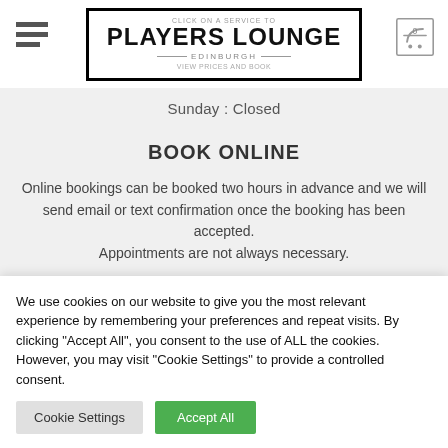PLAYERS LOUNGE — EDINBURGH
Sunday : Closed
BOOK ONLINE
Online bookings can be booked two hours in advance and we will send email or text confirmation once the booking has been accepted. Appointments are not always necessary.
We use cookies on our website to give you the most relevant experience by remembering your preferences and repeat visits. By clicking "Accept All", you consent to the use of ALL the cookies. However, you may visit "Cookie Settings" to provide a controlled consent.